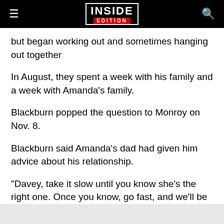INSIDE EDITION
but began working out and sometimes hanging out together
In August, they spent a week with his family and a week with Amanda's family.
Blackburn popped the question to Monroy on Nov. 8.
Blackburn said Amanda's dad had given him advice about his relationship.
"Davey, take it slow until you know she's the right one. Once you know, go fast, and we'll be